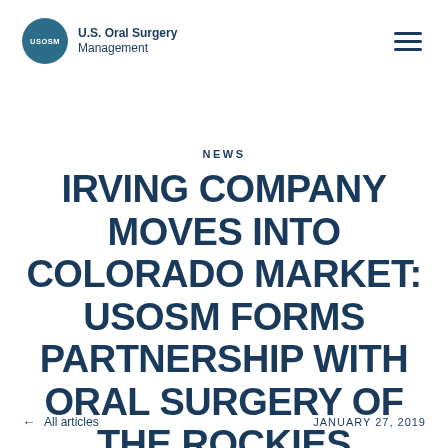U.S. Oral Surgery Management
NEWS
IRVING COMPANY MOVES INTO COLORADO MARKET: USOSM FORMS PARTNERSHIP WITH ORAL SURGERY OF THE ROCKIES
← All articles    JANUARY 27, 2019